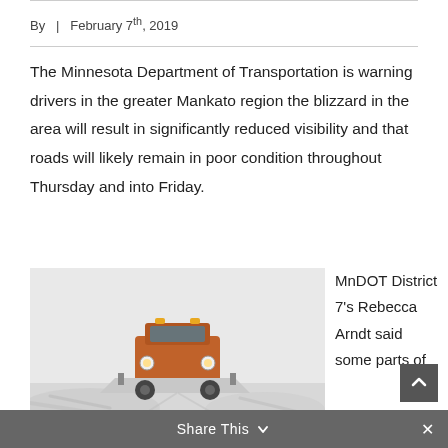By  |  February 7th, 2019
The Minnesota Department of Transportation is warning drivers in the greater Mankato region the blizzard in the area will result in significantly reduced visibility and that roads will likely remain in poor condition throughout Thursday and into Friday.
[Figure (photo): A snow plow truck driving through a blizzard, plowing snow off the road.]
MnDOT District 7's Rebecca Arndt said some parts of